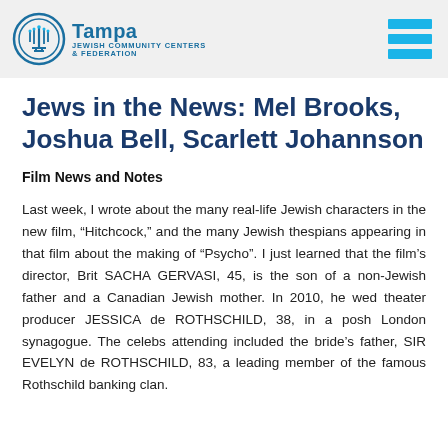Tampa Jewish Community Centers & Federation
Jews in the News: Mel Brooks, Joshua Bell, Scarlett Johannson
Film News and Notes
Last week, I wrote about the many real-life Jewish characters in the new film, “Hitchcock,” and the many Jewish thespians appearing in that film about the making of “Psycho”. I just learned that the film’s director, Brit SACHA GERVASI, 45, is the son of a non-Jewish father and a Canadian Jewish mother. In 2010, he wed theater producer JESSICA de ROTHSCHILD, 38, in a posh London synagogue. The celebs attending included the bride’s father, SIR EVELYN de ROTHSCHILD, 83, a leading member of the famous Rothschild banking clan.